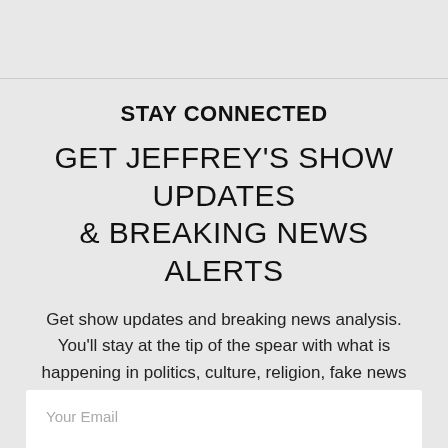STAY CONNECTED
GET JEFFREY'S SHOW UPDATES & BREAKING NEWS ALERTS
Get show updates and breaking news analysis. You'll stay at the tip of the spear with what is happening in politics, culture, religion, fake news and the deep state. And, what you can do about it.